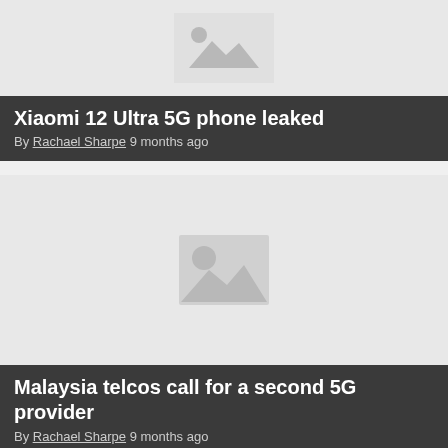[Figure (photo): Placeholder image for Xiaomi 12 Ultra 5G phone article, light gray background with mountain/image placeholder icon]
Xiaomi 12 Ultra 5G phone leaked
By Rachael Sharpe 9 months ago
[Figure (photo): Placeholder image for Malaysia telcos article, light gray background with image placeholder icon]
Malaysia telcos call for a second 5G provider
By Rachael Sharpe 9 months ago